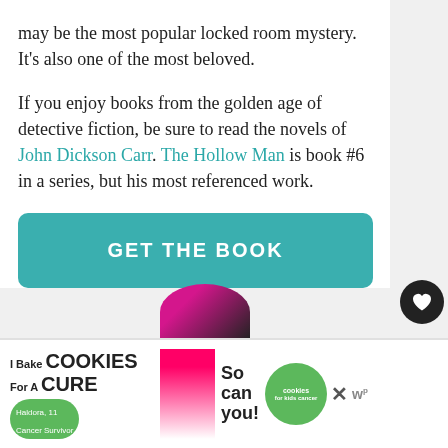may be the most popular locked room mystery. It's also one of the most beloved.
If you enjoy books from the golden age of detective fiction, be sure to read the novels of John Dickson Carr. The Hollow Man is book #6 in a series, but his most referenced work.
GET THE BOOK
WHAT'S NEXT → The Best Fake Dating Book....
[Figure (infographic): Advertisement banner: I Bake COOKIES For A CURE with So can you! and cookies for kids cancer green button]
[Figure (photo): Partial image of a child with baked goods at bottom of page]